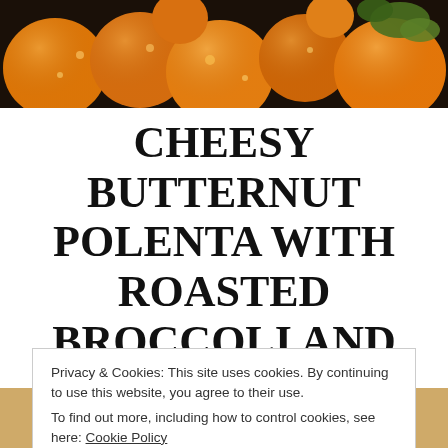[Figure (photo): Close-up photo of orange/yellow cherry tomatoes with green herbs on a dark background, top of page]
CHEESY BUTTERNUT POLENTA WITH ROASTED BROCCOLI AND CABBAGE
Privacy & Cookies: This site uses cookies. By continuing to use this website, you agree to their use.
To find out more, including how to control cookies, see here: Cookie Policy
Close and accept
[Figure (photo): Bottom portion of food photo visible at bottom of page]